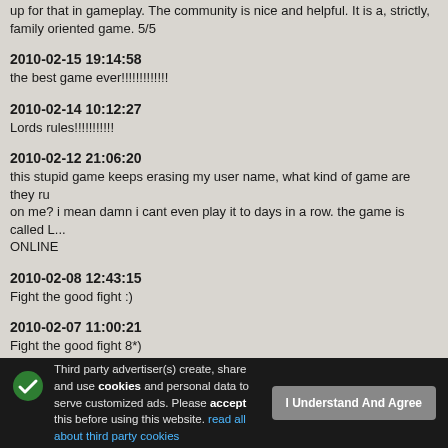up for that in gameplay. The community is nice and helpful. It is a, strictly, family oriented game. 5/5
2010-02-15 19:14:58
the best game ever!!!!!!!!!!!!!
2010-02-14 10:12:27
Lords rules!!!!!!!!!!!
2010-02-12 21:06:20
this stupid game keeps erasing my user name, what kind of game are they running on me? i mean damn i cant even play it to days in a row. the game is called L... ONLINE
2010-02-08 12:43:15
Fight the good fight :)
2010-02-07 11:00:21
Fight the good fight 8*)
2010-02-06 13:18:01
Fight the good fight :)
2010-01-27 06:56:29
Its awsome and you can attack people.
2010-01-24 19:45:18
awsome game its fun and cool. you can attack people build up your army bui...
Third party advertiser(s) create, share and use cookies and personal data to serve customized ads. Please accept this before using this website. read all about third party cookies